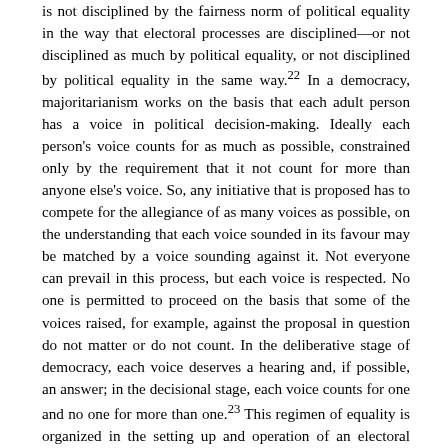is not disciplined by the fairness norm of political equality in the way that electoral processes are disciplined—or not disciplined as much by political equality, or not disciplined by political equality in the same way.22 In a democracy, majoritarianism works on the basis that each adult person has a voice in political decision-making. Ideally each person's voice counts for as much as possible, constrained only by the requirement that it not count for more than anyone else's voice. So, any initiative that is proposed has to compete for the allegiance of as many voices as possible, on the understanding that each voice sounded in its favour may be matched by a voice sounding against it. Not everyone can prevail in this process, but each voice is respected. No one is permitted to proceed on the basis that some of the voices raised, for example, against the proposal in question do not matter or do not count. In the deliberative stage of democracy, each voice deserves a hearing and, if possible, an answer; in the decisional stage, each voice counts for one and no one for more than one.23 This regimen of equality is organized in the setting up and operation of an electoral system, in the rules for the franchise, in districting and the determination of the size of various constituencies (so as to ensure that each representative stands for the same number of potential votes), and in the scrupulousness with which individual votes are tallied. (It is also reflected in the scrupulousness with which voices are